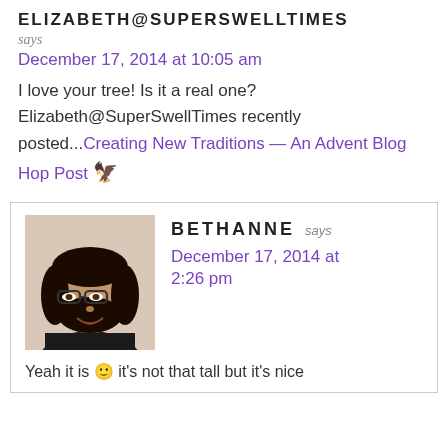ELIZABETH@SUPERSWELLTIMES
says
December 17, 2014 at 10:05 am
I love your tree! Is it a real one? Elizabeth@SuperSwellTimes recently posted...Creating New Traditions — An Advent Blog Hop Post
[Figure (photo): Profile photo of Bethanne, a woman with dark curly hair and glasses, smiling]
BETHANNE
says
December 17, 2014 at 2:26 pm
Yeah it is 🙂 it's not that tall but it's nice